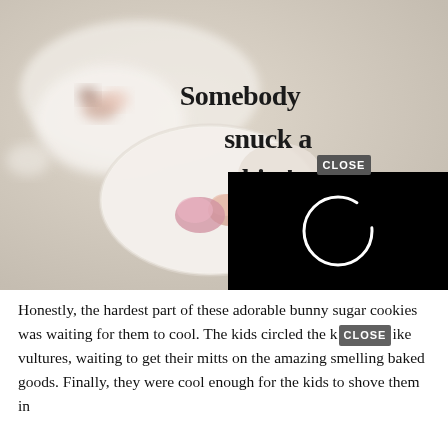[Figure (photo): Photo of white sugar cookies shaped like bunnies on a white surface, with a handwritten text overlay reading 'Somebody snuck a bite!' and a black video player overlay in the bottom-right corner with a circular loading/play icon and a CLOSE button.]
Honestly, the hardest part of these adorable bunny sugar cookies was waiting for them to cool. The kids circled the k[CLOSE]ike vultures, waiting to get their mitts on the amazing smelling baked goods. Finally, they were cool enough for the kids to shove them in